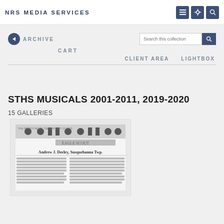NRS MEDIA SERVICES
← ARCHIVE
Search this collection
CART
CLIENT AREA    LIGHTBOX
STHS MUSICALS 2001-2011, 2019-2020
15 GALLERIES
[Figure (photo): Thumbnail preview of a newspaper clipping showing Eagle Scout article about Andrew J. Deeley, Susquehanna Twp.]